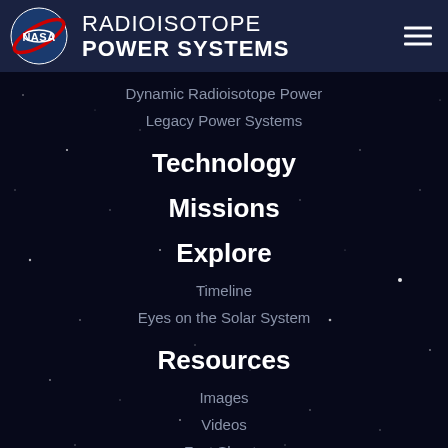NASA RADIOISOTOPE POWER SYSTEMS
Dynamic Radioisotope Power
Legacy Power Systems
Technology
Missions
Explore
Timeline
Eyes on the Solar System
Resources
Images
Videos
Fact Sheets